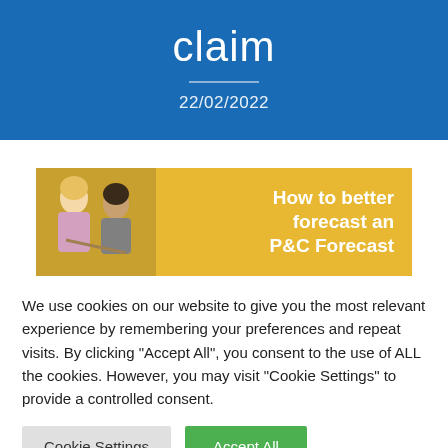claim
22/02/2022
[Figure (illustration): Promotional banner with yellow background showing people looking at documents and text 'How to better forecast an P&C Forecast']
We use cookies on our website to give you the most relevant experience by remembering your preferences and repeat visits. By clicking “Accept All”, you consent to the use of ALL the cookies. However, you may visit “Cookie Settings” to provide a controlled consent.
Cookie Settings
Accept All